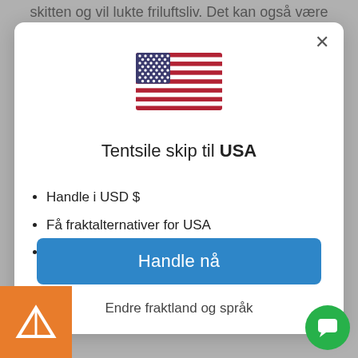skitten og vil lukte friluftsliv. Det kan også være
[Figure (illustration): US flag emoji/icon centered in modal]
Tentsile skip til USA
Handle i USD $
Få fraktalternativer for USA
Språk satt til engelsk
Handle nå
Endre fraktland og språk
[Figure (logo): Orange Tentsile logo with tent/triangle icon]
[Figure (illustration): Green circular chat button with speech bubble icon]